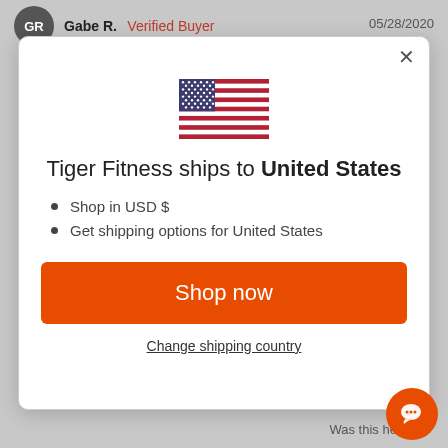Gabe R.  Verified Buyer   05/28/2020
[Figure (screenshot): US flag emoji centered above the modal text]
Tiger Fitness ships to United States
Shop in USD $
Get shipping options for United States
Shop now
Change shipping country
Was this helpful?